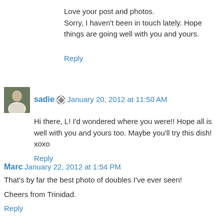Love your post and photos.
Sorry, I haven't been in touch lately. Hope things are going well with you and yours.
Reply
sadie  January 20, 2012 at 11:50 AM
Hi there, L! I'd wondered where you were!! Hope all is well with you and yours too. Maybe you'll try this dish! xoxo
Reply
Marc  January 22, 2012 at 1:54 PM
That's by far the best photo of doubles I've ever seen!

Cheers from Trinidad.
Reply